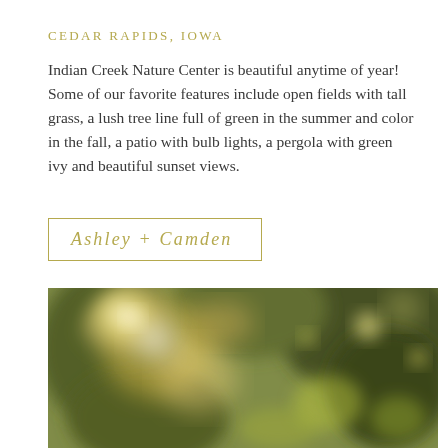CEDAR RAPIDS, IOWA
Indian Creek Nature Center is beautiful anytime of year! Some of our favorite features include open fields with tall grass, a lush tree line full of green in the summer and color in the fall, a patio with bulb lights, a pergola with green ivy and beautiful sunset views.
Ashley + Camden
[Figure (photo): Blurred bokeh photo of trees with warm sunlight filtering through green and golden leaves, nature scene]